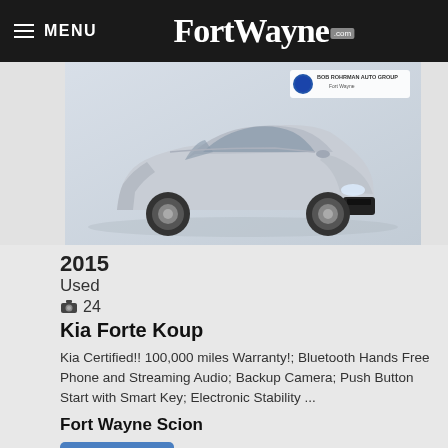MENU FortWayne.com
[Figure (photo): Silver 2015 Kia Forte Koup coupe, front 3/4 view, with Bob Rohrman Auto Group Fort Wayne dealer badge in upper right corner. Car is silver/grey on a light background.]
2015
Used
24
Kia Forte Koup
Kia Certified!! 100,000 miles Warranty!; Bluetooth Hands Free Phone and Streaming Audio; Backup Camera; Push Button Start with Smart Key; Electronic Stability ...
Fort Wayne Scion
View Details
3,157 mi
$13,845